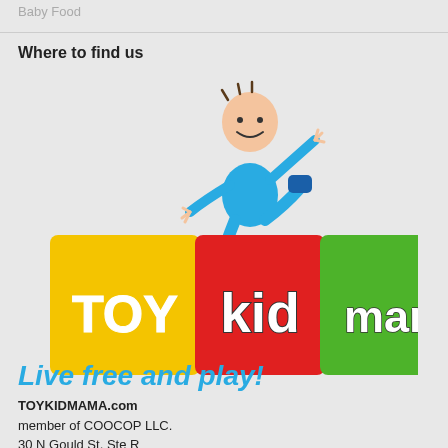Baby Food
Where to find us
[Figure (logo): TOY KID MAMA logo with cartoon child jumping on colored blocks (yellow, red, green) with text 'TOY kid mama']
Live free and play!
TOYKIDMAMA.com
member of COOCOP LLC.
30 N Gould St, Ste R
Sheridan, WY 82801